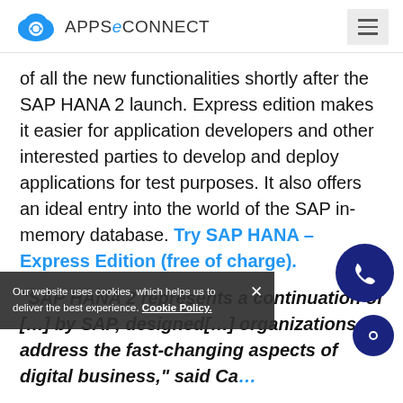APPSeConnect
of all the new functionalities shortly after the SAP HANA 2 launch. Express edition makes it easier for application developers and other interested parties to develop and deploy applications for test purposes. It also offers an ideal entry into the world of the SAP in-memory database. Try SAP HANA – Express Edition (free of charge).
"SAP HANA 2 represents a continuation of [innovation] by SAP, designed [to enable] organizations to address the fast-changing aspects of digital business," said Ca[...]
Our website uses cookies, which helps us to deliver the best experience. Cookie Policy.